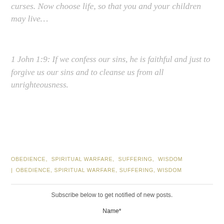curses. Now choose life, so that you and your children may live…
1 John 1:9:  If we confess our sins, he is faithful and just to forgive us our sins and to cleanse us from all unrighteousness.
OBEDIENCE,  SPIRITUAL WARFARE,  SUFFERING,  WISDOM | OBEDIENCE, SPIRITUAL WARFARE, SUFFERING, WISDOM
Subscribe below to get notified of new posts.
Name*